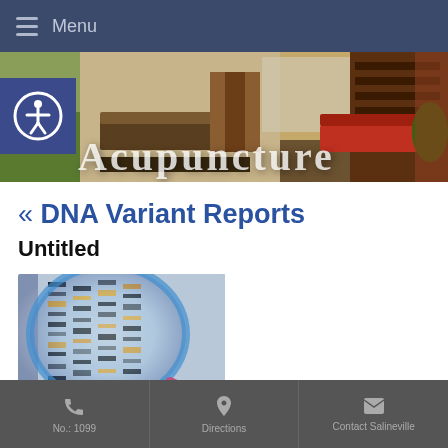Menu
[Figure (photo): Interior of a medical/acupuncture clinic lobby with reception desk, red sofa, shelving with products, and brick wall. Partially visible text overlay reads 'Acupuncture'.]
« DNA Variant Reports
Untitled
[Figure (photo): Close-up photo of a DNA gel electrophoresis result viewed through a magnifying glass lens, showing bands of DNA in blue and orange tones.]
No.: 1099 | Directions | Contact Salineville